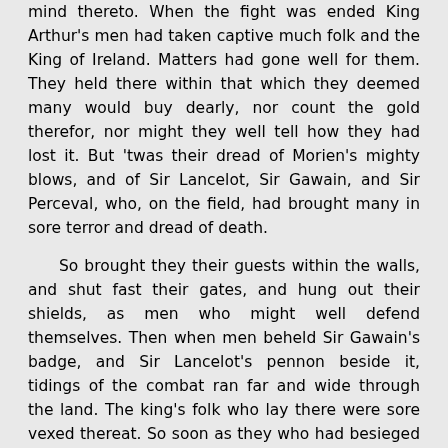mind thereto. When the fight was ended King Arthur's men had taken captive much folk and the King of Ireland. Matters had gone well for them. They held there within that which they deemed many would buy dearly, nor count the gold therefor, nor might they well tell how they had lost it. But 'twas their dread of Morien's mighty blows, and of Sir Lancelot, Sir Gawain, and Sir Perceval, who, on the field, had brought many in sore terror and dread of death.
So brought they their guests within the walls, and shut fast their gates, and hung out their shields, as men who might well defend themselves. Then when men beheld Sir Gawain's badge, and Sir Lancelot's pennon beside it, tidings of the combat ran far and wide through the land. The king's folk who lay there were sore vexed thereat. So soon as they who had besieged the queen heard what had chanced they drew off their forces; and all they who served the king, and who came with him into the lands, were greatly shamed, and desired of Sir Gawain in what wise they might make peace.
Sir Gawain took counsel with his comrades, and this was their rede, that they must bring King Arthur there